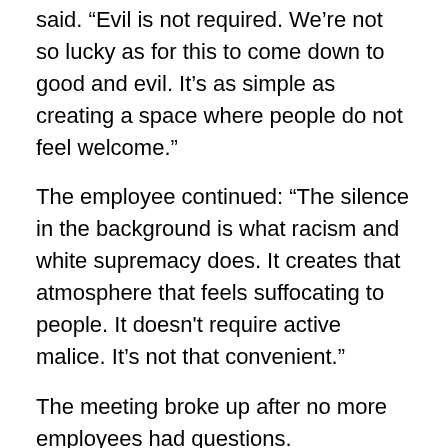said. “Evil is not required. We’re not so lucky as for this to come down to good and evil. It’s as simple as creating a space where people do not feel welcome.”
The employee continued: “The silence in the background is what racism and white supremacy does. It creates that atmosphere that feels suffocating to people. It doesn't require active malice. It’s not that convenient.”
The meeting broke up after no more employees had questions.
III.
A half hour after the meeting ended, Fried posted an internal note saying that Singer has been suspended pending an investigation. He added that the company